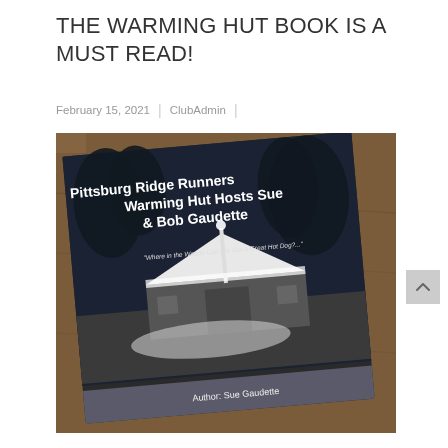THE WARMING HUT BOOK IS A MUST READ!
February 15, 2021 | ClubAdmin |
[Figure (photo): A photo of a book cover lying on a wooden table. The book cover shows a dark wintery night scene of a small hut with snow, with text reading 'Pittsburg Ridge Runners Warming Hut Hosts Sue & Bob Gaudette' and a subtitle 'Where in the Woods Can you Get a Great Hot Dog?' and 'Author: Sue Gaudette' at the bottom.]